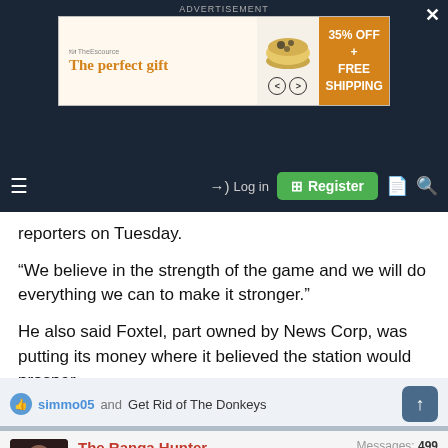[Figure (screenshot): Advertisement banner for a food gift product with text 'The perfect gift', showing a bowl of food, navigation arrows, and '35% OFF + FREE SHIPPING' on orange background]
[Figure (screenshot): Navigation bar with hamburger menu, Log in button, green Register button, and search/document icons]
reporters on Tuesday.
“We believe in the strength of the game and we will do everything we can to make it stronger.”
He also said Foxtel, part owned by News Corp, was putting its money where it believed the station would prosper.
simmo05 and Get Rid of The Donkeys
[Figure (photo): User avatar photo of The Ranga Hunter]
The Ranga Hunter
Juniors
Messages: 499